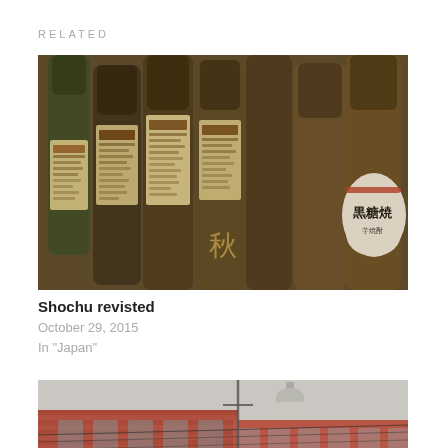RELATED
[Figure (photo): Multiple bottles of Japanese shochu with traditional paper labels and hand-tied tags, displayed in a shop]
Shochu revisted
October 29, 2015
In "Japan"
[Figure (photo): Exterior of a red brick building with a water tower on top, power lines crossing in front, overcast sky]